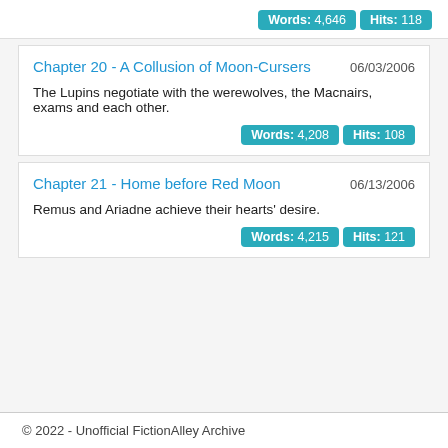consequences.
Words: 4,646  Hits: 118
Chapter 20 - A Collusion of Moon-Cursers
06/03/2006
The Lupins negotiate with the werewolves, the Macnairs, exams and each other.
Words: 4,208  Hits: 108
Chapter 21 - Home before Red Moon
06/13/2006
Remus and Ariadne achieve their hearts' desire.
Words: 4,215  Hits: 121
© 2022 - Unofficial FictionAlley Archive